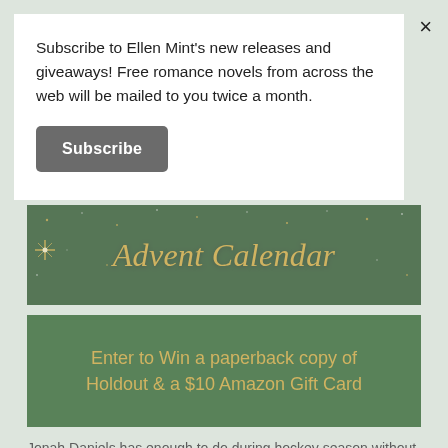Subscribe to Ellen Mint's new releases and giveaways! Free romance novels from across the web will be mailed to you twice a month.
Subscribe
[Figure (illustration): Advent Calendar banner with gold script text on dark green background with stars]
[Figure (illustration): Dark green box with gold text: Enter to Win a paperback copy of Holdout & a $10 Amazon Gift Card]
Jonah Daniels has enough to do during hockey season without spending time interviewing a roommate to help